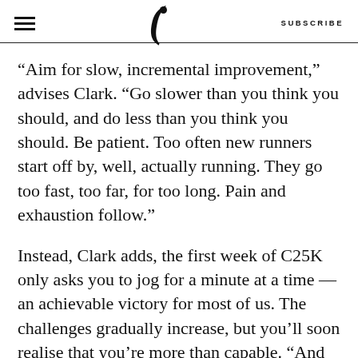SUBSCRIBE
“Aim for slow, incremental improvement,” advises Clark. “Go slower than you think you should, and do less than you think you should. Be patient. Too often new runners start off by, well, actually running. They go too fast, too far, for too long. Pain and exhaustion follow.”
Instead, Clark adds, the first week of C25K only asks you to jog for a minute at a time — an achievable victory for most of us. The challenges gradually increase, but you’ll soon realise that you’re more than capable. “And